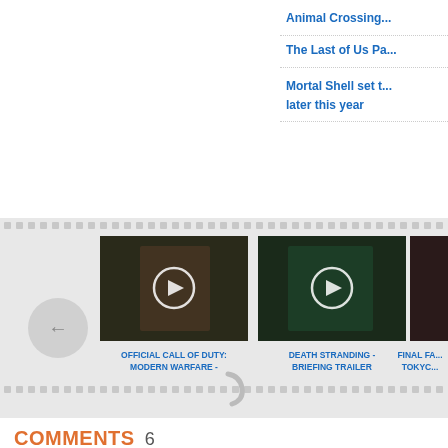Animal Crossing...
The Last of Us Pa...
Mortal Shell set t... later this year
[Figure (screenshot): Video carousel film strip with back arrow button and three video thumbnails: 'OFFICIAL CALL OF DUTY: MODERN WARFARE -', 'DEATH STRANDING - BRIEFING TRAILER', 'FINAL FA... TOKYO...']
COMMENTS 6
[Figure (other): Loading spinner icon]